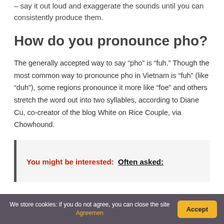– say it out loud and exaggerate the sounds until you can consistently produce them.
How do you pronounce pho?
The generally accepted way to say “pho” is “fuh.” Though the most common way to pronounce pho in Vietnam is “fuh” (like “duh”), some regions pronounce it more like “foe” and others stretch the word out into two syllables, according to Diane Cu, co-creator of the blog White on Rice Couple, via Chowhound.
You might be interested:  Often asked:
We store cookies: if you do not agree, you can close the site Agreemen  Accept